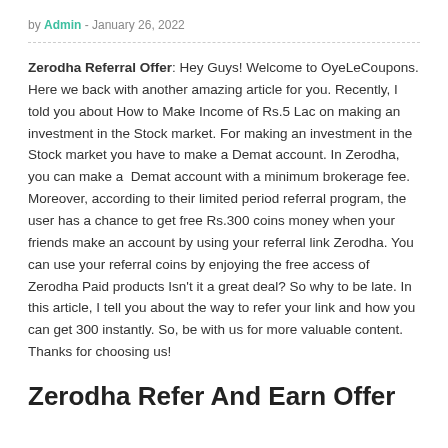by Admin - January 26, 2022
Zerodha Referral Offer: Hey Guys! Welcome to OyeLeCoupons. Here we back with another amazing article for you. Recently, I told you about How to Make Income of Rs.5 Lac on making an investment in the Stock market. For making an investment in the Stock market you have to make a Demat account. In Zerodha, you can make a Demat account with a minimum brokerage fee. Moreover, according to their limited period referral program, the user has a chance to get free Rs.300 coins money when your friends make an account by using your referral link Zerodha. You can use your referral coins by enjoying the free access of Zerodha Paid products Isn't it a great deal? So why to be late. In this article, I tell you about the way to refer your link and how you can get 300 instantly. So, be with us for more valuable content. Thanks for choosing us!
Zerodha Refer And Earn Offer